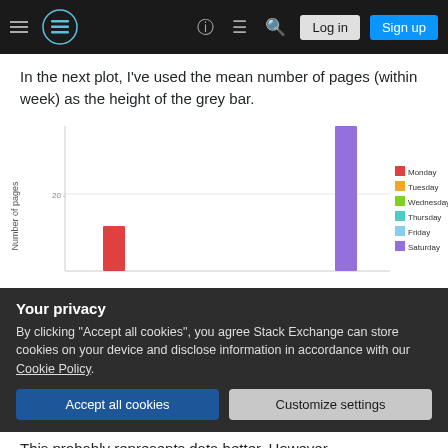Stack Exchange navigation bar with hamburger menu, logo, help, chat, search icons, Log in and Sign up buttons
In the next plot, I've used the mean number of pages (within week) as the height of the grey bar.
[Figure (bar-chart): Partial bar chart showing colored bars for days of week. Monday (red/orange), Tuesday (orange/yellow), Wednesday (green), Thursday (teal), Friday (light blue), Saturday (purple/blue). A tall purple bar (Saturday) is visible, and a short red bar (Monday) is visible. Legend on right side shows all days with colored squares.]
Your privacy
By clicking "Accept all cookies", you agree Stack Exchange can store cookies on your device and disclose information in accordance with our Cookie Policy.
This probably represents data better. However,